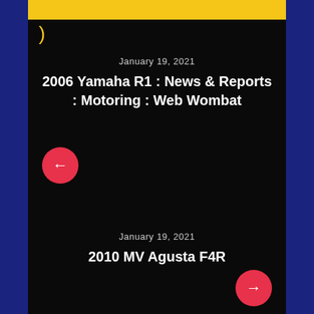January 19, 2021
2006 Yamaha R1 : News & Reports : Motoring : Web Wombat
January 19, 2021
2010 MV Agusta F4R